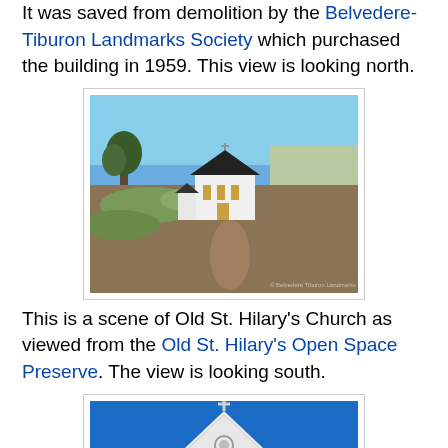It was saved from demolition by the Belvedere-Tiburon Landmarks Society which purchased the building in 1959. This view is looking north.
[Figure (photo): Old St. Hilary's Church seen from a hillside, white church building with dark roof, bay and hills visible in background, looking north]
This is a scene of Old St. Hilary's Church as viewed from the Old St. Hilary's Open Space Preserve. The view is looking south.
[Figure (photo): Close-up of Old St. Hilary's Church steeple and triangular gable with cross on top against a bright blue sky]